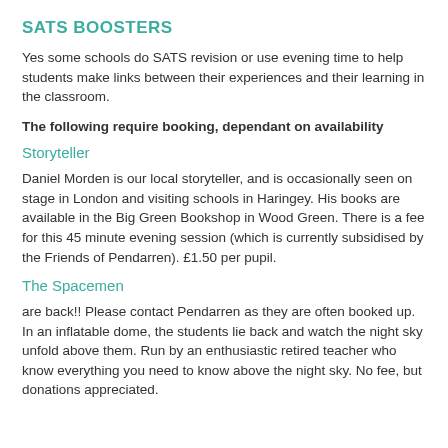SATS BOOSTERS
Yes some schools do SATS revision or use evening time to help students make links between their experiences and their learning in the classroom.
The following require booking, dependant on availability
Storyteller
Daniel Morden is our local storyteller, and is occasionally seen on stage in London and visiting schools in Haringey. His books are available in the Big Green Bookshop in Wood Green. There is a fee for this 45 minute evening session (which is currently subsidised by the Friends of Pendarren). £1.50 per pupil.
The Spacemen
are back!!  Please contact Pendarren as they are often booked up. In an inflatable dome, the students lie back and watch the night sky unfold above them. Run by an enthusiastic retired teacher who know everything you need to know above the night sky. No fee, but donations appreciated.